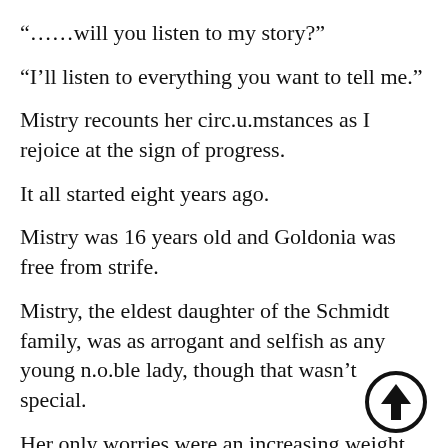“……will you listen to my story?”
“I’ll listen to everything you want to tell me.”
Mistry recounts her circ.u.mstances as I rejoice at the sign of progress.
It all started eight years ago.
Mistry was 16 years old and Goldonia was free from strife.
Mistry, the eldest daughter of the Schmidt family, was as arrogant and selfish as any young n.o.ble lady, though that wasn’t special.
Her only worries were an increasing weight and the persistent marriage proposals.
[Figure (illustration): Circular arrow icon pointing upward, outlined in black with a white interior]